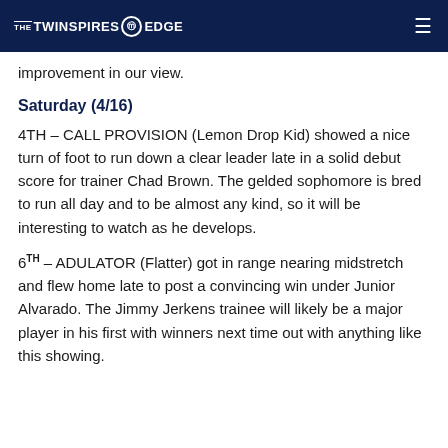THE TWINSPIRES EDGE
improvement in our view.
Saturday (4/16)
4TH – CALL PROVISION (Lemon Drop Kid) showed a nice turn of foot to run down a clear leader late in a solid debut score for trainer Chad Brown. The gelded sophomore is bred to run all day and to be almost any kind, so it will be interesting to watch as he develops.
6TH – ADULATOR (Flatter) got in range nearing midstretch and flew home late to post a convincing win under Junior Alvarado. The Jimmy Jerkens trainee will likely be a major player in his first with winners next time out with anything like this showing.